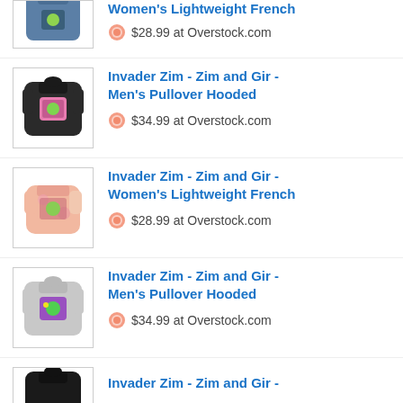[Figure (photo): Blue hoodie sweatshirt with graphic, partially visible at top]
Women's Lightweight French
$28.99 at Overstock.com
[Figure (photo): Black pullover hoodie with pink graphic on front]
Invader Zim - Zim and Gir - Men's Pullover Hooded
$34.99 at Overstock.com
[Figure (photo): Pink tie-dye lightweight French terry pullover with graphic]
Invader Zim - Zim and Gir - Women's Lightweight French
$28.99 at Overstock.com
[Figure (photo): Gray pullover hoodie with colorful graphic on front]
Invader Zim - Zim and Gir - Men's Pullover Hooded
$34.99 at Overstock.com
[Figure (photo): Dark/black hoodie partially visible at bottom]
Invader Zim - Zim and Gir -